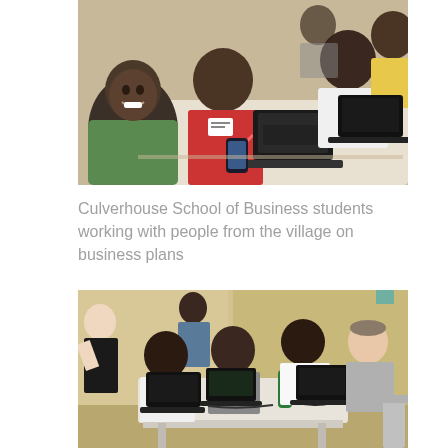[Figure (photo): Students from Culverhouse School of Business sitting around a table working with laptops and notebooks alongside people from a village. One person in a red t-shirt with a name tag is writing on paper while another smiles at the camera.]
Culverhouse School of Business students working with people from the village on business plans
[Figure (photo): A group of people seated around a table with laptops in a room with yellow walls. A woman with light hair stands in the background on the left, and another woman sits on the right side of the table engaging with the group.]